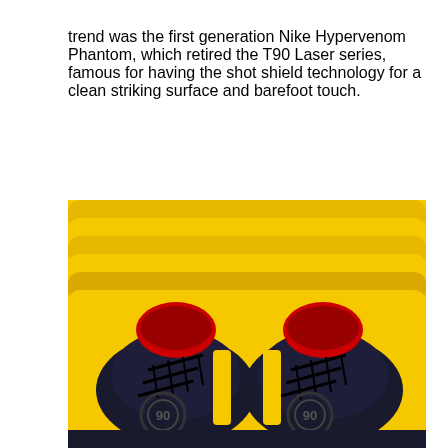trend was the first generation Nike Hypervenom Phantom, which retired the T90 Laser series, famous for having the shot shield technology for a clean striking surface and barefoot touch.
[Figure (photo): Top-down view of a pair of Nike T90 Laser football boots in black and yellow colorway with red collar, displayed against a bright yellow ridged background. Each shoe shows the '90' logo embossed on the side.]